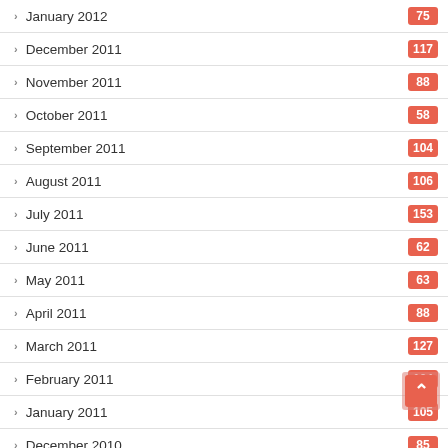January 2012 · 75
December 2011 · 117
November 2011 · 88
October 2011 · 58
September 2011 · 104
August 2011 · 106
July 2011 · 153
June 2011 · 62
May 2011 · 63
April 2011 · 88
March 2011 · 127
February 2011 · 104
January 2011 · 105
December 2010 · 85